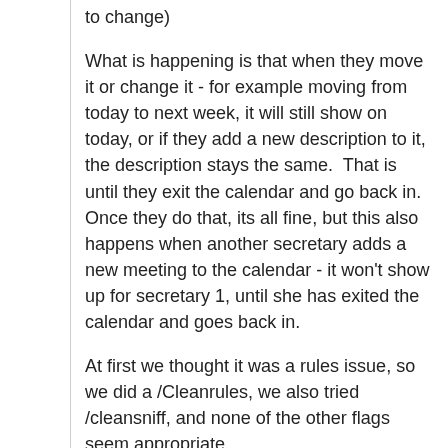to change)
What is happening is that when they move it or change it - for example moving from today to next week, it will still show on today, or if they add a new description to it, the description stays the same.  That is until they exit the calendar and go back in.  Once they do that, its all fine, but this also happens when another secretary adds a new meeting to the calendar - it won't show up for secretary 1, until she has exited the calendar and goes back in.
At first we thought it was a rules issue, so we did a /Cleanrules, we also tried /cleansniff, and none of the other flags seem appropriate.
We are working with Outlook 2007, SP2, we are not running in cached mode and this did not happen under Exchange 2003/Outlook 2003 (please note that when we were using Olk 2003 with Exch 2007, we would get out of memory errors constantly, probably related to the way they all work with the